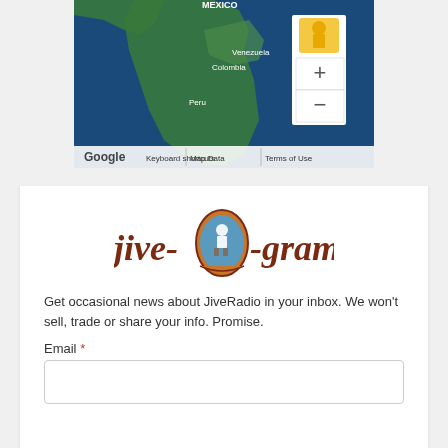[Figure (map): Google Maps screenshot showing South America region with Mexico, Venezuela, Colombia, Peru visible. Zoom controls (+/-) and Street View pegman visible on right side. Map toolbar at bottom shows Keyboard shortcuts, Map Data, Terms of Use.]
[Figure (logo): Jive-O-Gram logo: stylized brown italic text 'jive-O-gram' with an oval badge in the center containing a figure illustration]
Get occasional news about JiveRadio in your inbox. We won't sell, trade or share your info. Promise.
Email *